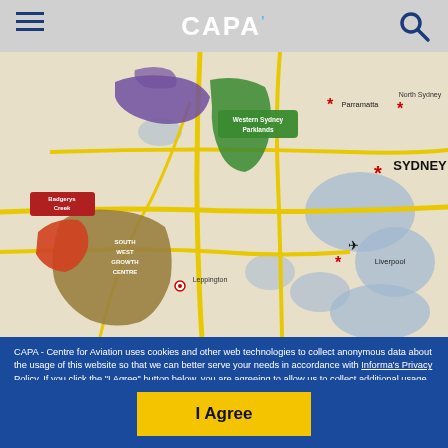CAPA
[Figure (map): Map of Western Sydney region showing Badgerys Creek airport site, South West Growth Centre, Western Sydney Parklands, Liverpool, Parramatta, North Sydney, and Sydney CBD marked with red asterisks. Major roads shown in yellow.]
CAPA - Centre for Aviation uses cookies and other web technologies to collect anonymous data about the usage of this website so that we can better serve your needs in accordance with Informa's Privacy Policy. If you click the "I Agree" button below, you are agreeing to allow us to collect additional usage data that can potentially be used to identify you. If you'd like more information on this data, what we do with it, and more granular controls, please take a look at our Privacy Settings.
I Agree